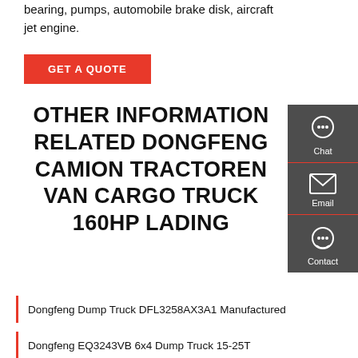bearing, pumps, automobile brake disk, aircraft jet engine.
GET A QUOTE
OTHER INFORMATION RELATED DONGFENG CAMION TRACTOREN VAN CARGO TRUCK 160HP LADING
[Figure (infographic): Sidebar with chat, email, and contact icons on dark grey background]
Dongfeng Dump Truck DFL3258AX3A1 Manufactured
Dongfeng EQ3243VB 6x4 Dump Truck 15-25T